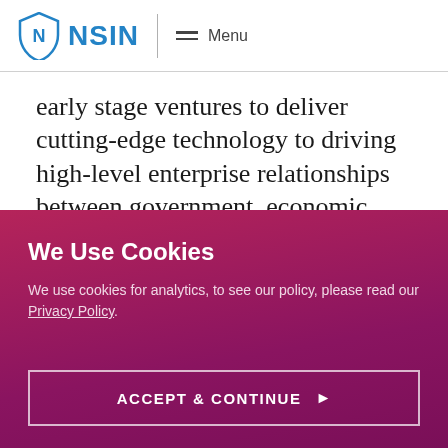NSIN — Menu
early stage ventures to deliver cutting-edge technology to driving high-level enterprise relationships between government, economic development
We Use Cookies
We use cookies for analytics, to see our policy, please read our Privacy Policy.
ACCEPT & CONTINUE